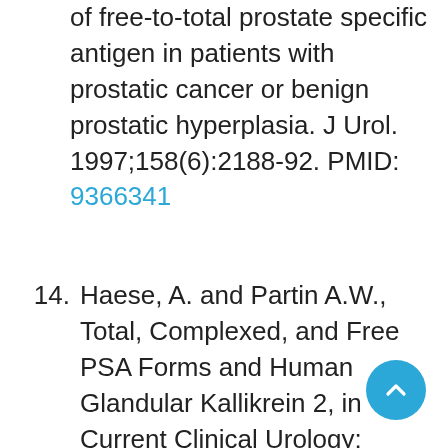of free-to-total prostate specific antigen in patients with prostatic cancer or benign prostatic hyperplasia. J Urol. 1997;158(6):2188-92. PMID: 9366341
14. Haese, A. and Partin A.W., Total, Complexed, and Free PSA Forms and Human Glandular Kallikrein 2, in Current Clinical Urology: Management of Prostate Cancer, E.A. Klein, Editor.